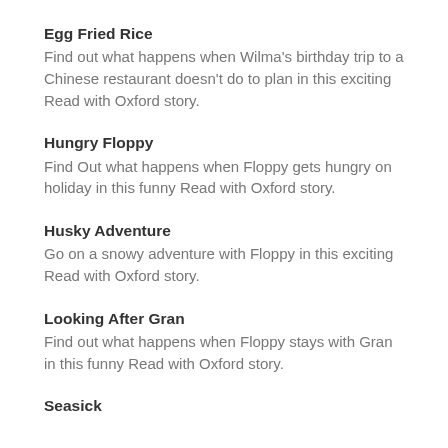Egg Fried Rice
Find out what happens when Wilma's birthday trip to a Chinese restaurant doesn't do to plan in this exciting Read with Oxford story.
Hungry Floppy
Find Out what happens when Floppy gets hungry on holiday in this funny Read with Oxford story.
Husky Adventure
Go on a snowy adventure with Floppy in this exciting Read with Oxford story.
Looking After Gran
Find out what happens when Floppy stays with Gran in this funny Read with Oxford story.
Seasick